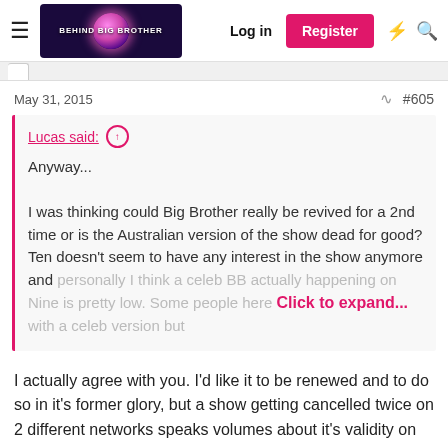Behind Big Brother — Log in | Register
May 31, 2015   #605
Lucas said: ↑

Anyway...

I was thinking could Big Brother really be revived for a 2nd time or is the Australian version of the show dead for good? Ten doesn't seem to have any interest in the show anymore and personally I think a celeb BB actually happening on Nine is pretty low. Some people here could bb okay with a celeb version but

Click to expand...
I actually agree with you. I'd like it to be renewed and to do so in it's former glory, but a show getting cancelled twice on 2 different networks speaks volumes about it's validity on Australian TV. I think the trend is changing, reality tv is very